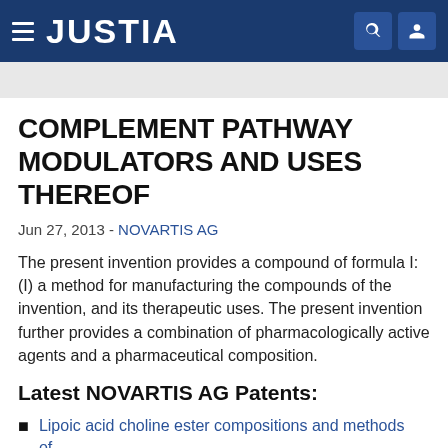JUSTIA
COMPLEMENT PATHWAY MODULATORS AND USES THEREOF
Jun 27, 2013 - NOVARTIS AG
The present invention provides a compound of formula I: (I) a method for manufacturing the compounds of the invention, and its therapeutic uses. The present invention further provides a combination of pharmacologically active agents and a pharmaceutical composition.
Latest NOVARTIS AG Patents:
Lipoic acid choline ester compositions and methods of...